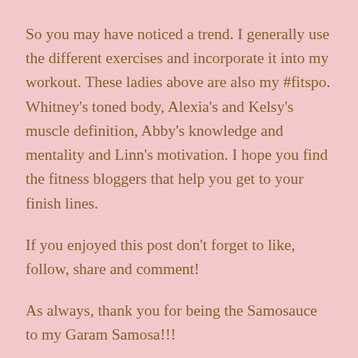So you may have noticed a trend. I generally use the different exercises and incorporate it into my workout. These ladies above are also my #fitspo. Whitney's toned body, Alexia's and Kelsy's muscle definition, Abby's knowledge and mentality and Linn's motivation. I hope you find the fitness bloggers that help you get to your finish lines.
If you enjoyed this post don't forget to like, follow, share and comment!
As always, thank you for being the Samosauce to my Garam Samosa!!!